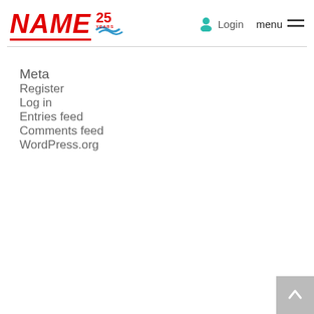NAME 25 YEARS | Login | menu
Meta
Register
Log in
Entries feed
Comments feed
WordPress.org